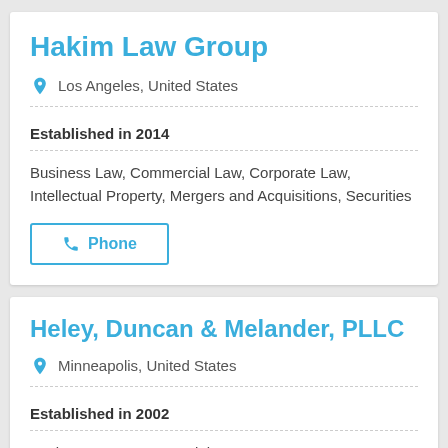Hakim Law Group
Los Angeles, United States
Established in 2014
Business Law, Commercial Law, Corporate Law, Intellectual Property, Mergers and Acquisitions, Securities
Phone
Heley, Duncan & Melander, PLLC
Minneapolis, United States
Established in 2002
Business Law, Commercial Law, Corporate Law, Employment Law, Government, Mergers and Acquisitions, Property Law,...